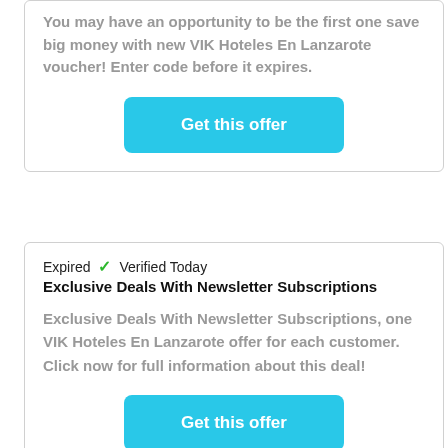You may have an opportunity to be the first one save big money with new VIK Hoteles En Lanzarote voucher! Enter code before it expires.
[Figure (other): Cyan 'Get this offer' button]
Expired  ✓  Verified Today
Exclusive Deals With Newsletter Subscriptions
Exclusive Deals With Newsletter Subscriptions, one VIK Hoteles En Lanzarote offer for each customer. Click now for full information about this deal!
[Figure (other): Cyan 'Get this offer' button]